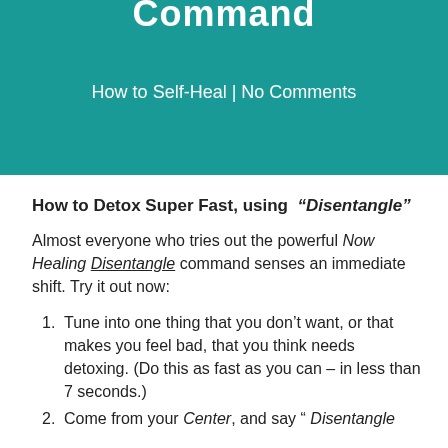Command
How to Self-Heal | No Comments
How to Detox Super Fast, using “Disentangle”
Almost everyone who tries out the powerful Now Healing Disentangle command senses an immediate shift. Try it out now:
Tune into one thing that you don’t want, or that makes you feel bad, that you think needs detoxing. (Do this as fast as you can – in less than 7 seconds.)
Come from your Center, and say “ Disentangle